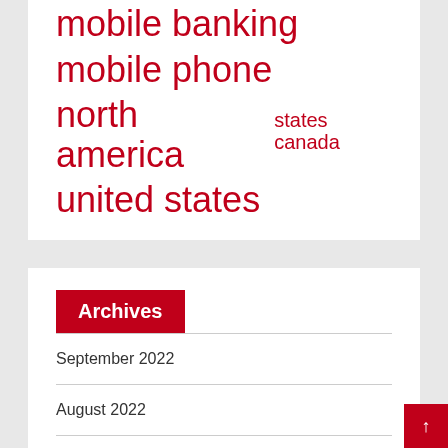mobile banking
mobile phone
north america  states canada
united states
Archives
September 2022
August 2022
July 2022